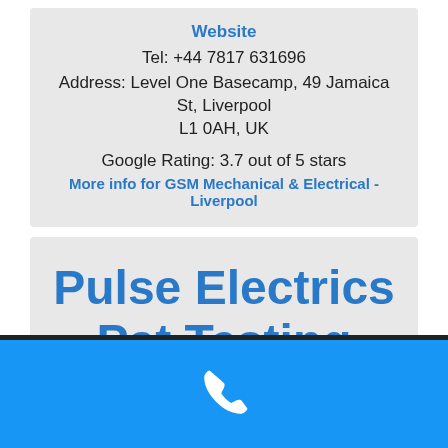Website
Tel: +44 7817 631696
Address: Level One Basecamp, 49 Jamaica St, Liverpool L1 0AH, UK
Google Rating: 3.7 out of 5 stars
More info for GSM Mechanical & Electrical - Liverpool
Pulse Electrics Pat Testing Liverpool
Electrical Inspection
Website